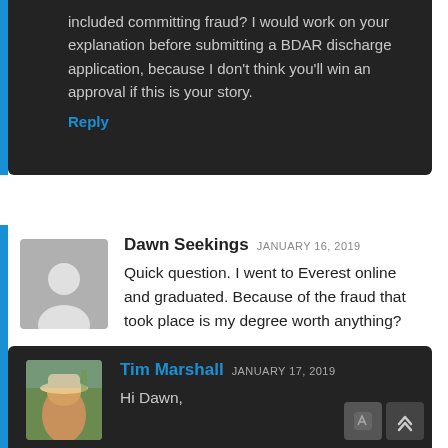included committing fraud? I would work on your explanation before submitting a BDAR discharge application, because I don't think you'll win an approval if this is your story.
Reply
Dawn Seekings JANUARY 16, 2019
Quick question. I went to Everest online and graduated. Because of the fraud that took place is my degree worth anything?
Reply
Tim Marshall JANUARY 17, 2019
Hi Dawn,